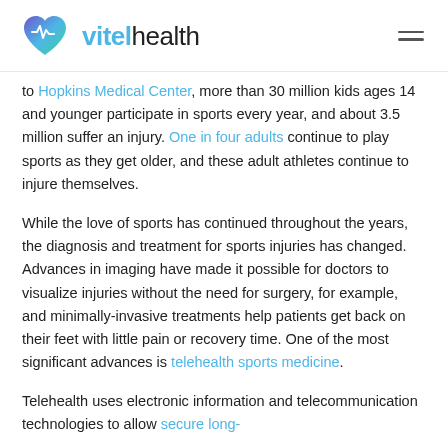vitelhealth
to Hopkins Medical Center, more than 30 million kids ages 14 and younger participate in sports every year, and about 3.5 million suffer an injury. One in four adults continue to play sports as they get older, and these adult athletes continue to injure themselves.
While the love of sports has continued throughout the years, the diagnosis and treatment for sports injuries has changed. Advances in imaging have made it possible for doctors to visualize injuries without the need for surgery, for example, and minimally-invasive treatments help patients get back on their feet with little pain or recovery time. One of the most significant advances is telehealth sports medicine.
Telehealth uses electronic information and telecommunication technologies to allow secure long-